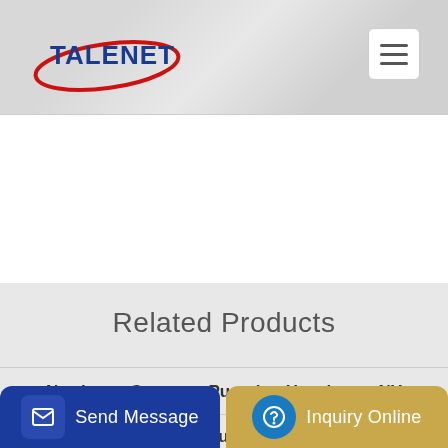[Figure (logo): Talenet company logo with red swoosh and blue text]
Related Products
Northeast Concrete Pumping Hawthorne NY
Sinotruk Used HOWO Truck Concrete Mixer Truck
Send Message | Inquiry Online